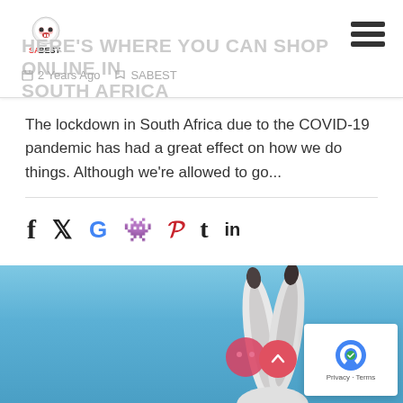HERE'S WHERE YOU CAN SHOP ONLINE IN SOUTH AFRICA
2 Years Ago   SABEST
The lockdown in South Africa due to the COVID-19 pandemic has had a great effect on how we do things. Although we're allowed to go...
[Figure (illustration): Social media sharing icons: Facebook, Twitter, Google, Reddit, Pinterest, Tumblr, LinkedIn]
[Figure (photo): Blue sky background with rabbit ears visible at bottom, partially cropped image]